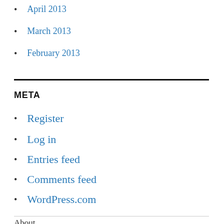April 2013
March 2013
February 2013
META
Register
Log in
Entries feed
Comments feed
WordPress.com
About